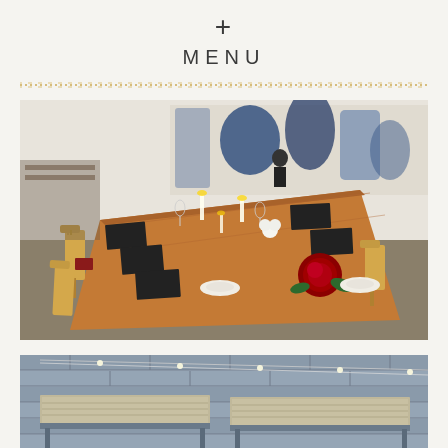+ MENU
[Figure (photo): Elegant dinner party setting with a long wooden table set with black menus, candles, flowers including red peonies, glasses, and wooden chairs in a modern gallery space with abstract artwork on the wall]
[Figure (photo): Outdoor or covered venue with string lights, wooden picnic-style tables, and brick walls — a rustic event space setting]